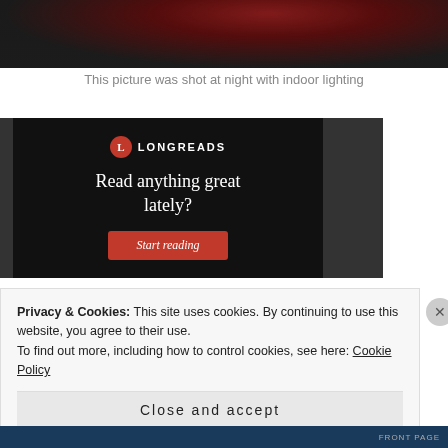[Figure (photo): Top portion of a photo showing a glass with red liquid, shot at night with indoor lighting, dark background]
This picture was shot at night with indoor lighting
[Figure (other): Longreads advertisement banner with black background. Logo circle with 'L', text 'LONGREADS', headline 'Read anything great lately?', red 'Start reading' button.]
Privacy & Cookies: This site uses cookies. By continuing to use this website, you agree to their use.
To find out more, including how to control cookies, see here: Cookie Policy
Close and accept